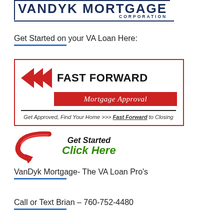[Figure (logo): VanDyk Mortgage Corporation logo with dark navy text and border lines]
Get Started on your VA Loan Here:
[Figure (infographic): Fast Forward Mortgage Approval banner with red double-chevron arrows, red bar with 'Mortgage Approval' text, tagline: Get Approved, Find Your Home >>> Fast Forward to Closing]
[Figure (infographic): Red curved arrow pointing right with 'Get Started Click Here' call-to-action text in italic bold]
VanDyk Mortgage- The VA Loan Pro's
Call or Text Brian – 760-752-4480